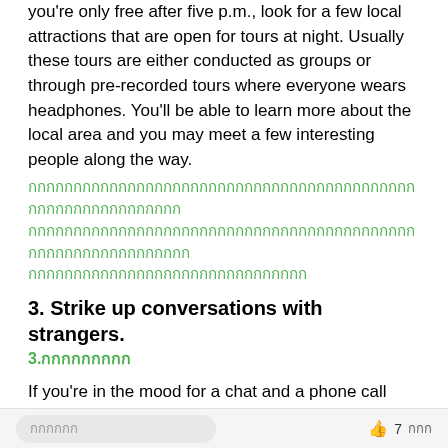you're only free after five p.m., look for a few local attractions that are open for tours at night. Usually these tours are either conducted as groups or through pre-recorded tours where everyone wears headphones. You'll be able to learn more about the local area and you may meet a few interesting people along the way.
[Thai text - green, two full lines and partial third line]
3. Strike up conversations with strangers.
3.[Thai text]
If you're in the mood for a chat and a phone call home doesn't satisfy that craving, head downstairs to the lobby. You may find a few other bored strangers, eager to hang out and talk. Throughout your trip, get to know the front desk clerks.